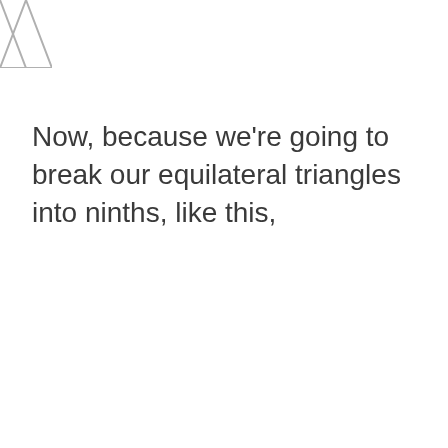[Figure (illustration): Partial view of an equilateral triangle outline, cropped at top-left corner of the page, showing the lower-right portion of a triangle with gray border lines.]
Now, because we’re going to break our equilateral triangles into ninths, like this,